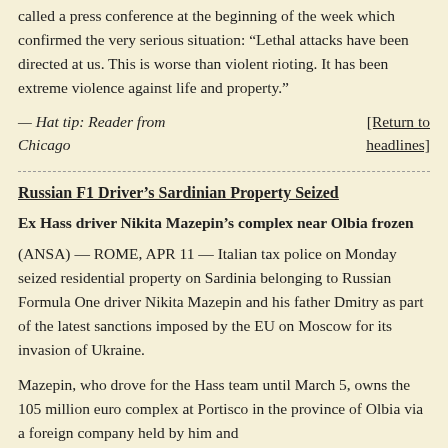called a press conference at the beginning of the week which confirmed the very serious situation: “Lethal attacks have been directed at us. This is worse than violent rioting. It has been extreme violence against life and property.”
— Hat tip: Reader from Chicago
[Return to headlines]
Russian F1 Driver’s Sardinian Property Seized
Ex Hass driver Nikita Mazepin’s complex near Olbia frozen
(ANSA) — ROME, APR 11 — Italian tax police on Monday seized residential property on Sardinia belonging to Russian Formula One driver Nikita Mazepin and his father Dmitry as part of the latest sanctions imposed by the EU on Moscow for its invasion of Ukraine.
Mazepin, who drove for the Hass team until March 5, owns the 105 million euro complex at Portisco in the province of Olbia via a foreign company held by him and